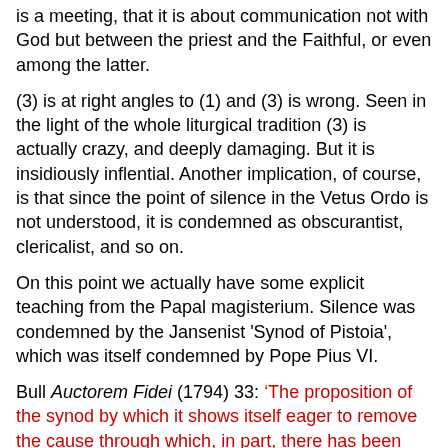is a meeting, that it is about communication not with God but between the priest and the Faithful, or even among the latter.
(3) is at right angles to (1) and (3) is wrong. Seen in the light of the whole liturgical tradition (3) is actually crazy, and deeply damaging. But it is insidiously inflential. Another implication, of course, is that since the point of silence in the Vetus Ordo is not understood, it is condemned as obscurantist, clericalist, and so on.
On this point we actually have some explicit teaching from the Papal magisterium. Silence was condemned by the Jansenist 'Synod of Pistoia', which was itself condemned by Pope Pius VI.
Bull Auctorem Fidei (1794) 33: ‘The proposition of the synod by which it shows itself eager to remove the cause through which, in part, there has been induced a forgetfulness of the principles relating to the order of the liturgy, “by recalling it (the liturgy) to a greater simplicity of rites, by expressing it in the vernacular language, by uttering it in a loud voice”; as if the present order of the liturgy, received and approved by the